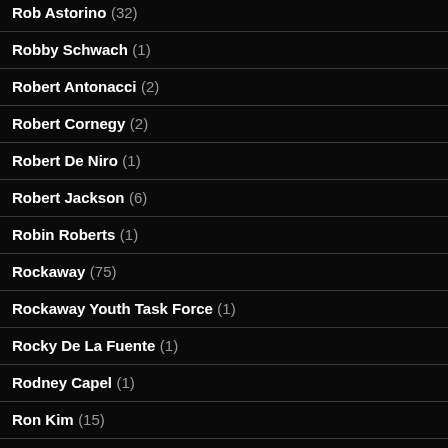Rob Astorino (32)
Robby Schwach (1)
Robert Antonacci (2)
Robert Cornegy (2)
Robert De Niro (1)
Robert Jackson (6)
Robin Roberts (1)
Rockaway (75)
Rockaway Youth Task Force (1)
Rocky De La Fuente (1)
Rodney Capel (1)
Ron Kim (15)
Rosa Rodriguez (1)